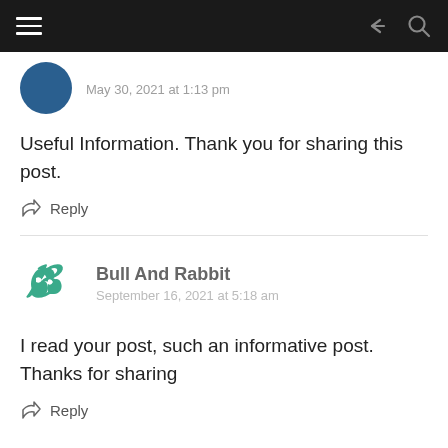Navigation bar with hamburger menu, share and search icons
May 30, 2021 at 1:13 pm
Useful Information. Thank you for sharing this post.
Reply
Bull And Rabbit
September 16, 2021 at 5:18 am
I read your post, such an informative post. Thanks for sharing
Reply